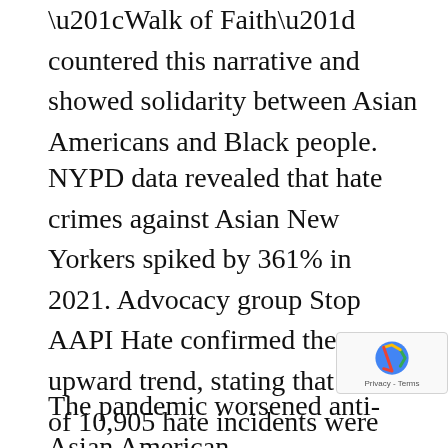“Walk of Faith” countered this narrative and showed solidarity between Asian Americans and Black people.
NYPD data revealed that hate crimes against Asian New Yorkers spiked by 361% in 2021. Advocacy group Stop AAPI Hate confirmed the upward trend, stating that a total of 10,905 hate incidents were reported between March 19, 2020, and the end of December 2021, reports Nikkei Asia. Chinese Americans were more likely to be targeted with nearly 43% of incidents reported.
The pandemic worsened anti-Asian American crimes. With the coronavirus originating from